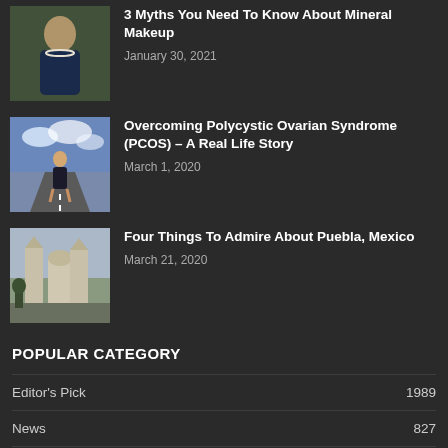[Figure (photo): Woman in blue strapless dress with pearl necklace]
3 Myths You Need To Know About Mineral Makeup
January 30, 2021
[Figure (photo): Blonde woman in black dress standing on an open road with dramatic sky]
Overcoming Polycystic Ovarian Syndrome (PCOS) – A Real Life Story
March 1, 2020
[Figure (photo): Puebla Mexico cathedral architecture]
Four Things To Admire About Puebla, Mexico
March 21, 2020
POPULAR CATEGORY
Editor's Pick    1989
News    827
INKing    560
Entertainment    475